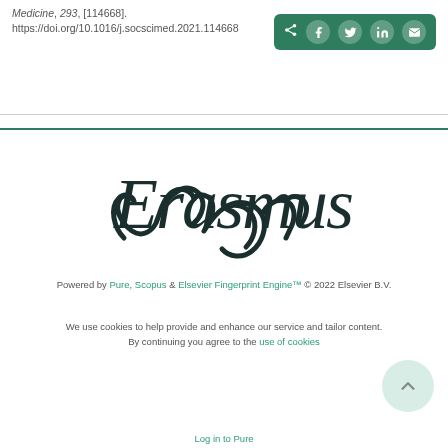Medicine, 293, [114668]. https://doi.org/10.1016/j.socscimed.2021.114668
[Figure (other): Social media share bar with Facebook, Twitter, LinkedIn, and email icons on green background]
[Figure (logo): Erasmus University Rotterdam cursive script logo in dark teal/black]
Powered by Pure, Scopus & Elsevier Fingerprint Engine™ © 2022 Elsevier B.V.
We use cookies to help provide and enhance our service and tailor content. By continuing you agree to the use of cookies
Log in to Pure